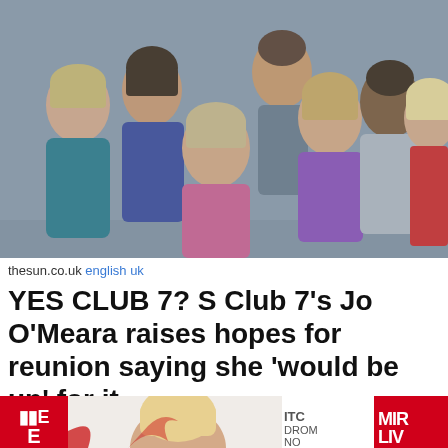[Figure (photo): Group photo of S Club 7 members posed together against a grey background. Six people visible: a short-haired blonde on left, a dark-haired woman, a centre-front woman with short light hair in a pink satin top, a taller man at the back centre, a woman in purple, a dark-skinned man in grey hoodie, and a blonde woman in red on the right.]
thesun.co.uk english uk
YES CLUB 7? S Club 7's Jo O'Meara raises hopes for reunion saying she 'would be up' for it
Full Article
over 1 year